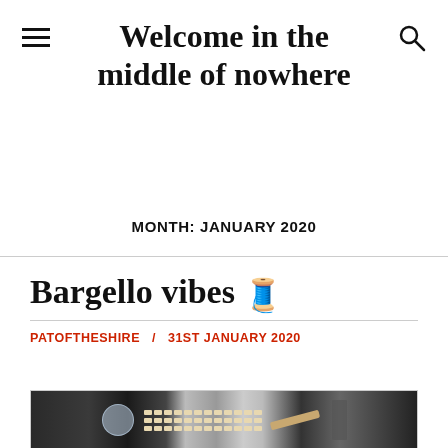Welcome in the middle of nowhere
MONTH: JANUARY 2020
Bargello vibes 🧵
PATOFTHESHIRE / 31ST JANUARY 2020
[Figure (photo): Photo of a keyboard and a glass of water on a desk, partial view]